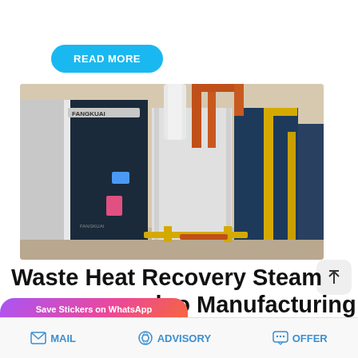READ MORE
[Figure (photo): Industrial boilers in a factory setting branded FANGKUAI, with visible orange and yellow gas pipes running along white and dark blue boiler units]
Waste Heat Recovery Steam ...rloo Manufacturing
[Figure (other): WhatsApp sticker promotion overlay with phone and face icons]
MAIL   ADVISORY   OFFER